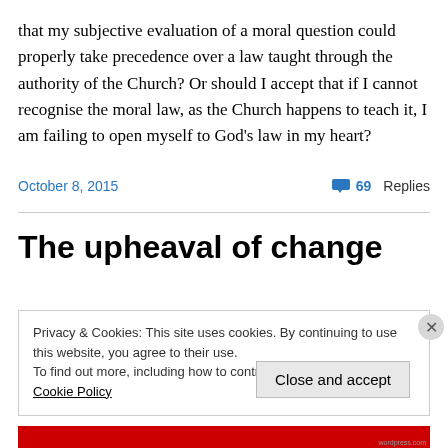that my subjective evaluation of a moral question could properly take precedence over a law taught through the authority of the Church? Or should I accept that if I cannot recognise the moral law, as the Church happens to teach it, I am failing to open myself to God's law in my heart?
October 8, 2015
69 Replies
The upheaval of change
Privacy & Cookies: This site uses cookies. By continuing to use this website, you agree to their use.
To find out more, including how to control cookies, see here: Cookie Policy
Close and accept